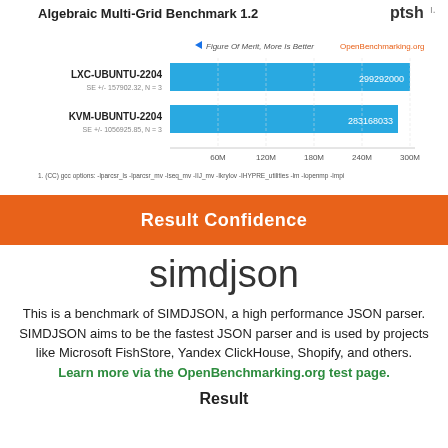[Figure (bar-chart): Algebraic Multi-Grid Benchmark 1.2]
Result Confidence
simdjson
This is a benchmark of SIMDJSON, a high performance JSON parser. SIMDJSON aims to be the fastest JSON parser and is used by projects like Microsoft FishStore, Yandex ClickHouse, Shopify, and others. Learn more via the OpenBenchmarking.org test page.
Result